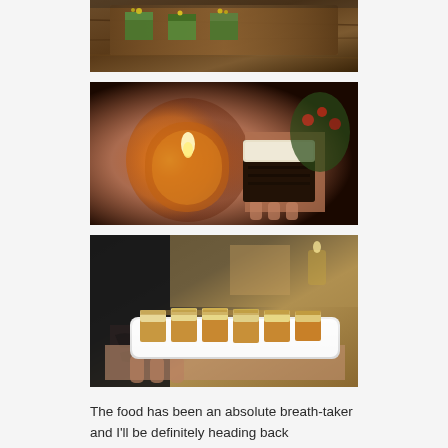[Figure (photo): Photo of small square cake/pastry pieces topped with yellow flowers and herbs on a wooden board]
[Figure (photo): Hand holding a square chocolate brownie with white/cream frosting on top, with an amber candle glowing in the background]
[Figure (photo): Tattooed hand holding a white rectangular plate with a row of square pastries topped with cream and chopped nuts]
The food has been an absolute breath-taker and I'll be definitely heading back